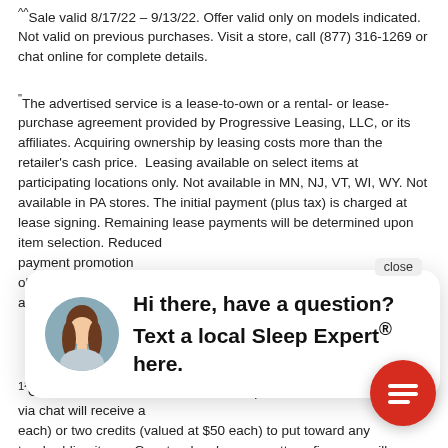^^Sale valid 8/17/22 – 9/13/22. Offer valid only on models indicated. Not valid on previous purchases. Visit a store, call (877) 316-1269 or chat online for complete details.
"The advertised service is a lease-to-own or a rental- or lease-purchase agreement provided by Progressive Leasing, LLC, or its affiliates. Acquiring ownership by leasing costs more than the retailer's cash price. Leasing available on select items at participating locations only. Not available in MN, NJ, VT, WI, WY. Not available in PA stores. The initial payment (plus tax) is charged at lease signing. Remaining lease payments will be determined upon item selection. Reduced payment promotion [text obscured] obtains information [text obscured] approved. Available [text obscured]
¹²Offer valid from 8/[date obscured] mattress purchase [text obscured] or via chat will receive a [text obscured] each) or two credits (valued at $50 each) to put toward any two bedding items. Guests who shop on mattressfirm.com will [text obscured] code 2FREE at checkout and receive two free tulo bedding items (valued up to $49.99 each). Items have no cash value and are not eligible for returns. Value of credit will be deducted from refund if mattress is returned. Offer not valid on previous
[Figure (other): Live chat popup showing a female customer service representative avatar with text 'Hi there, have a question? Text a local Sleep Expert® here.' and a close button. A red circular chat FAB button appears in the lower right corner.]